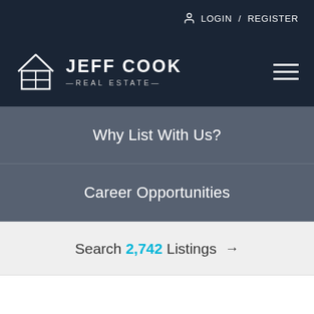LOGIN / REGISTER
[Figure (logo): Jeff Cook Real Estate logo with house icon and brand name]
Why List With Us?
Career Opportunities
Search 2,742 Listings →
Home › Troy